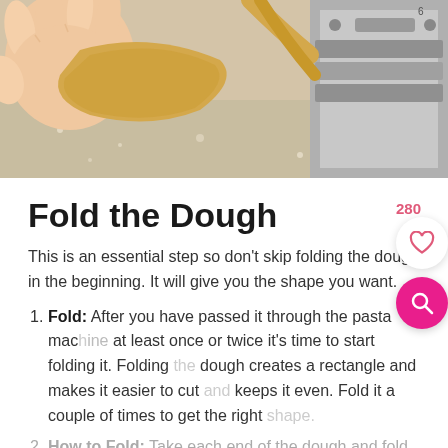[Figure (photo): Hands feeding dough through a pasta machine on a floured surface]
Fold the Dough
This is an essential step so don't skip folding the dough in the beginning. It will give you the shape you want.
Fold: After you have passed it through the pasta machine at least once or twice it's time to start folding it. Folding the dough creates a rectangle and makes it easier to cut and keeps it even. Fold it a couple of times to get the right shape.
How to Fold: Take each end of the dough and fold it into